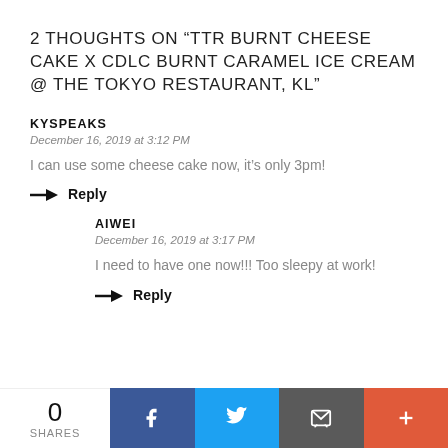2 THOUGHTS ON “TTR BURNT CHEESE CAKE X CDLC BURNT CARAMEL ICE CREAM @ THE TOKYO RESTAURANT, KL”
KYSPEAKS
December 16, 2019 at 3:12 PM
I can use some cheese cake now, it’s only 3pm!
→ Reply
AIWEI
December 16, 2019 at 3:17 PM
I need to have one now!!! Too sleepy at work!
→ Reply
0 SHARES